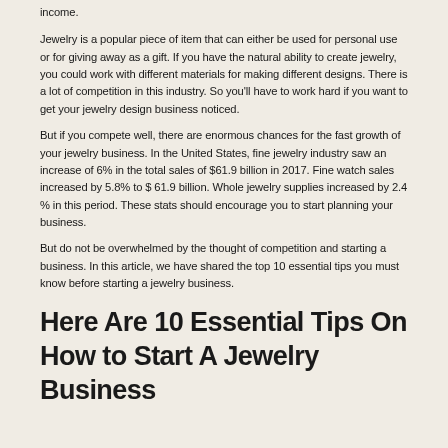income.
Jewelry is a popular piece of item that can either be used for personal use or for giving away as a gift. If you have the natural ability to create jewelry, you could work with different materials for making different designs. There is a lot of competition in this industry. So you'll have to work hard if you want to get your jewelry design business noticed.
But if you compete well, there are enormous chances for the fast growth of your jewelry business. In the United States, fine jewelry industry saw an increase of 6% in the total sales of $61.9 billion in 2017. Fine watch sales increased by 5.8% to $ 61.9 billion. Whole jewelry supplies increased by 2.4 % in this period. These stats should encourage you to start planning your business.
But do not be overwhelmed by the thought of competition and starting a business. In this article, we have shared the top 10 essential tips you must know before starting a jewelry business.
Here Are 10 Essential Tips On How to Start A Jewelry Business